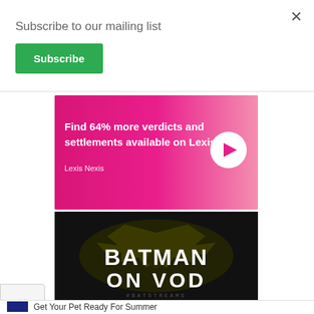Subscribe to our mailing list
Subscribe
[Figure (infographic): LexisNexis advertisement banner with pink/magenta gradient background. Text reads: 'Find 64% more verdicts and settlements available on Lexis+' with a white circle containing a pink right arrow. Bottom text: Lexis Nexis.]
[Figure (illustration): Batman On VOD promotional image. Black background with large Batman logo/bat symbol in dark olive/army green. White bold text reads 'BATMAN ON VOD'. Bottom hashtag text '#BATSTREAMS'.]
Get Your Pet Ready For Summer